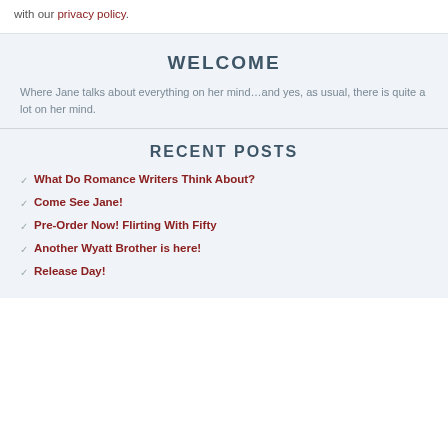with our privacy policy.
WELCOME
Where Jane talks about everything on her mind…and yes, as usual, there is quite a lot on her mind.
RECENT POSTS
What Do Romance Writers Think About?
Come See Jane!
Pre-Order Now! Flirting With Fifty
Another Wyatt Brother is here!
Release Day!